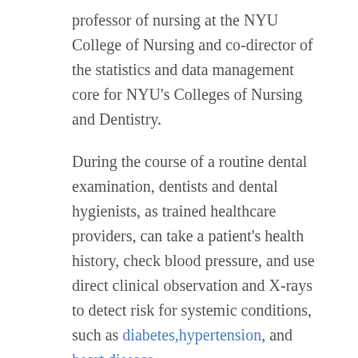professor of nursing at the NYU College of Nursing and co-director of the statistics and data management core for NYU's Colleges of Nursing and Dentistry.
During the course of a routine dental examination, dentists and dental hygienists, as trained healthcare providers, can take a patient's health history, check blood pressure, and use direct clinical observation and X-rays to detect risk for systemic conditions, such as diabetes, hypertension, and heart disease.
The NYU research team examined the most recent available data, which came from a